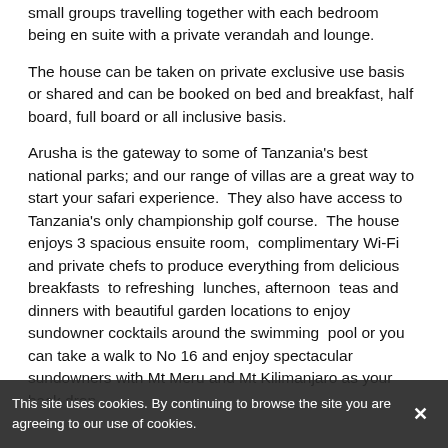small groups travelling together with each bedroom being en suite with a private verandah and lounge.
The house can be taken on private exclusive use basis or shared and can be booked on bed and breakfast, half board, full board or all inclusive basis.
Arusha is the gateway to some of Tanzania's best national parks; and our range of villas are a great way to start your safari experience.  They also have access to Tanzania's only championship golf course.  The house enjoys 3 spacious ensuite room,  complimentary Wi-Fi and private chefs to produce everything from delicious breakfasts  to refreshing  lunches, afternoon  teas and dinners with beautiful garden locations to enjoy sundowner cocktails around the swimming  pool or you can take a walk to No 16 and enjoy spectacular sundowners with Mt Meru and Mt Kilimanjaro as your back drop.
Whether  for a short  stay or extended,  there  is plenty  to do ranging  from early  morning  horse  rides,  to a round of golf on the 18 hole  champion golf course   relay at the
This site uses cookies. By continuing to browse the site you are agreeing to our use of cookies.